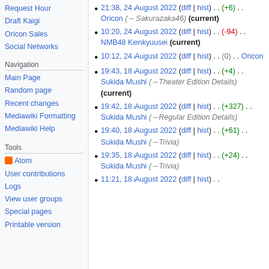Request Hour
Draft Kaigi
Oricon Sales
Social Networks
Navigation
Main Page
Random page
Recent changes
Mediawiki Formatting
Mediawiki Help
Tools
Atom
User contributions
Logs
View user groups
Special pages
Printable version
21:38, 24 August 2022 (diff | hist) . . (+6) . . Oricon (→Sakurazaka46) (current)
10:20, 24 August 2022 (diff | hist) . . (-94) . . NMB48 Kenkyuusei (current)
10:12, 24 August 2022 (diff | hist) . . (0) . . Oricon
19:43, 18 August 2022 (diff | hist) . . (+4) . . Sukida Mushi (→Theater Edition Details) (current)
19:42, 18 August 2022 (diff | hist) . . (+327) . . Sukida Mushi (→Regular Edition Details)
19:40, 18 August 2022 (diff | hist) . . (+61) . . Sukida Mushi (→Trivia)
19:35, 18 August 2022 (diff | hist) . . (+24) . . Sukida Mushi (→Trivia)
11:21, 18 August 2022 (diff | hist) . .